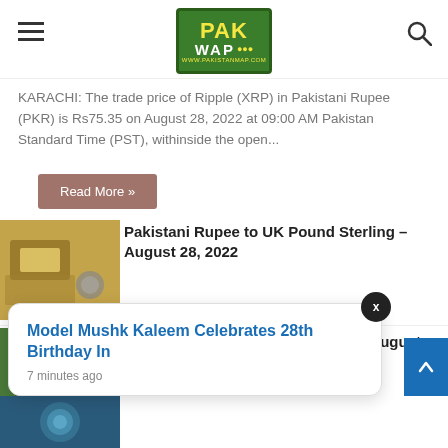PAKWAP - www.pakistanmap.com
KARACHI: The trade price of Ripple (XRP) in Pakistani Rupee (PKR) is Rs75.35 on August 28, 2022 at 09:00 AM Pakistan Standard Time (PST), withinside the open...
Read More »
[Figure (photo): Currency notes and coins]
Pakistani Rupee to UK Pound Sterling – August 28, 2022
[Figure (photo): Stack of dollar bills]
Pakistani Rupee to Saudi Riyal on August 28, 2022
Model Mushk Kaleem Celebrates 28th Birthday In
7 minutes ago
upee on Aug
[Figure (photo): Coins close-up]